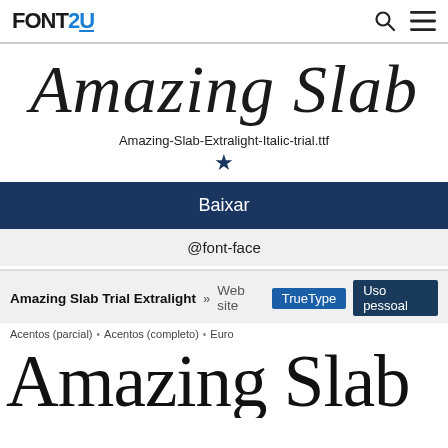FONTS2U
Amazing Slab
Amazing-Slab-Extralight-Italic-trial.ttf
★
Baixar
@font-face
Amazing Slab Trial Extralight » Web site TrueType Uso pessoal
Acentos (parcial) • Acentos (completo) • Euro
[Figure (other): Large font preview showing 'Amazing Slab' in extralight weight]